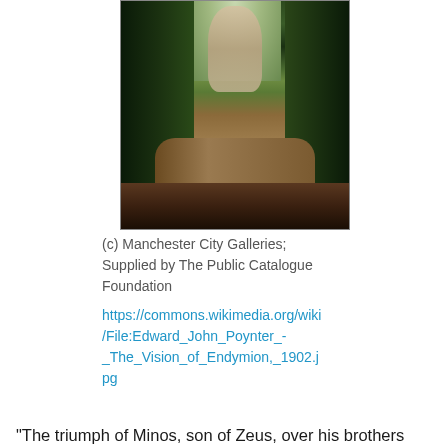[Figure (photo): Painting by Edward John Poynter titled 'The Vision of Endymion' (1902). Shows a reclining male figure at the bottom, lying on the ground surrounded by foliage, with a luminous female figure descending from above through a garden setting with red flowers and dark green plants on both sides.]
(c) Manchester City Galleries; Supplied by The Public Catalogue Foundation
https://commons.wikimedia.org/wiki/File:Edward_John_Poynter_-_The_Vision_of_Endymion,_1902.jpg
“The triumph of Minos, son of Zeus, over his brothers